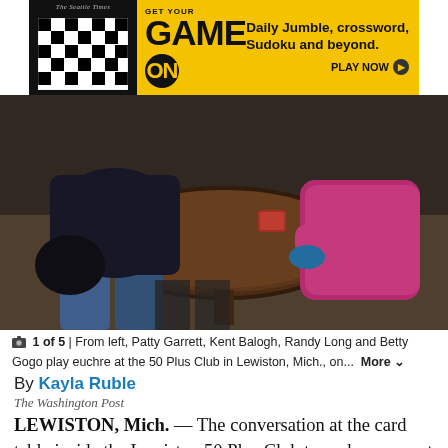[Figure (screenshot): Advertisement banner for The Seattle Times featuring a crossword puzzle image, yellow background, text 'GET YOUR GAME ON' with 'Daily Jumble, crossword, Sudoku and beyond. PLAY NOW']
[Figure (photo): Photo of people playing cards at a round wooden table. A person in jeans and dark jacket on the left, a person in pink on the right, with a card game in progress on the table.]
1 of 5 | From left, Patty Garrett, Kent Balogh, Randy Long and Betty Gogo play euchre at the 50 Plus Club in Lewiston, Mich., on...  More
By Kayla Ruble
The Washington Post
LEWISTON, Mich. — The conversation at the card table inside the Lewiston 50 Plus Club turned one recent afternoon to the coronavirus pandemic, as it had so many times the past two years.